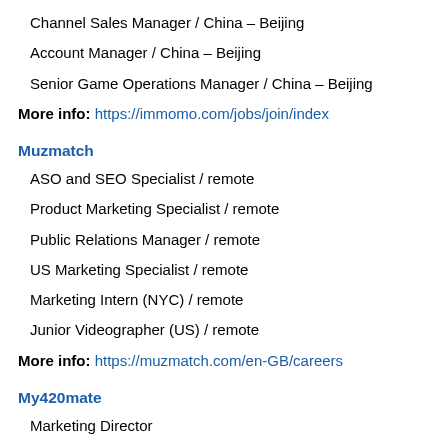Channel Sales Manager / China – Beijing
Account Manager / China – Beijing
Senior Game Operations Manager / China – Beijing
More info: https://immomo.com/jobs/join/index
Muzmatch
ASO and SEO Specialist / remote
Product Marketing Specialist / remote
Public Relations Manager / remote
US Marketing Specialist / remote
Marketing Intern (NYC) / remote
Junior Videographer (US) / remote
More info: https://muzmatch.com/en-GB/careers
My420mate
Marketing Director
More info: https://my420mate.com/careers/
Nikah Forever